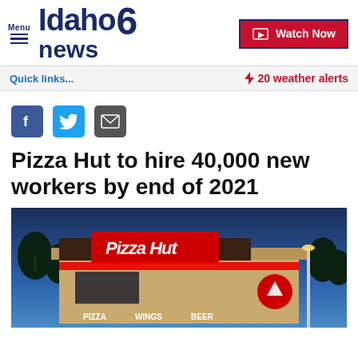Idaho news 6 — Menu | Watch Now
Quick links...
⚡ 20 weather alerts
[Figure (screenshot): Social share icons: Facebook, Twitter, Email]
Pizza Hut to hire 40,000 new workers by end of 2021
[Figure (photo): Exterior photo of a Pizza Hut restaurant at dusk with illuminated red LED lighting and signage showing Pizza, Wings, Beer]